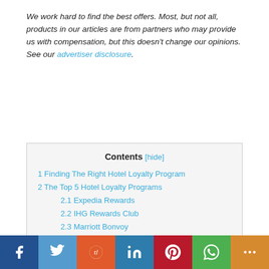We work hard to find the best offers. Most, but not all, products in our articles are from partners who may provide us with compensation, but this doesn't change our opinions. See our advertiser disclosure.
1 Finding The Right Hotel Loyalty Program
2 The Top 5 Hotel Loyalty Programs
2.1 Expedia Rewards
2.2 IHG Rewards Club
2.3 Marriott Bonvoy
2.4 The World Of Hyatt
2.5 Wyndham Rewards
3 Tips & Tricks
4 Bottom Line